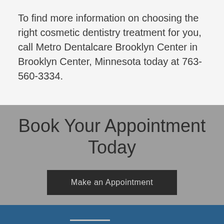To find more information on choosing the right cosmetic dentistry treatment for you, call Metro Dentalcare Brooklyn Center in Brooklyn Center, Minnesota today at 763-560-3334.
Book Your Appointment Today
Make an Appointment